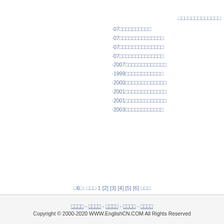□□□□□□□□□□□□□
·07□□□□□□□□□□
·07□□□□□□□□□□□□□□
·07□□□□□□□□□□□□□□
·07□□□□□□□□□□□□□□
·2007□□□□□□□□□□□□□
·1999□□□□□□□□□□□□
·2000□□□□□□□□□□□□□
·2001□□□□□□□□□□□□□
·2001□□□□□□□□□□□□□
·2003□□□□□□□□□□□□
□6□: □□□ 1 [2] [3] [4] [5] [6] □□□
□□□□□07□□□□□□□□□□
□□□□□07□□□□□□□□□□□□□□
□□□□ - □□□□ - □□□□ - □□□□ - □□□□
Copyright © 2000-2020 WWW.EnglishCN.COM All Rights Reserved